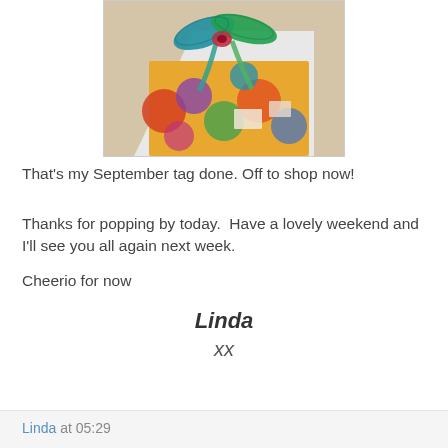[Figure (photo): Close-up photo of a colorful decorative tag with a teal/green ribbon tied in a bow, resting on a beige surface. The tag features multicolored abstract patterns including orange, red, blue, purple, and green shapes.]
That's my September tag done. Off to shop now!
Thanks for popping by today.  Have a lovely weekend and I'll see you all again next week.
Cheerio for now
Linda
xx
Linda at 05:29